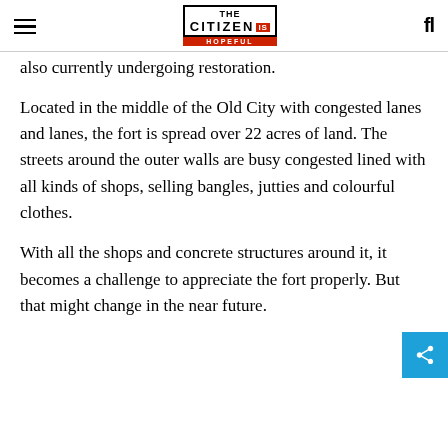THE CITIZEN IS HOPEFUL
also currently undergoing restoration.
Located in the middle of the Old City with congested lanes and lanes, the fort is spread over 22 acres of land. The streets around the outer walls are busy congested lined with all kinds of shops, selling bangles, jutties and colourful clothes.
With all the shops and concrete structures around it, it becomes a challenge to appreciate the fort properly. But that might change in the near future.